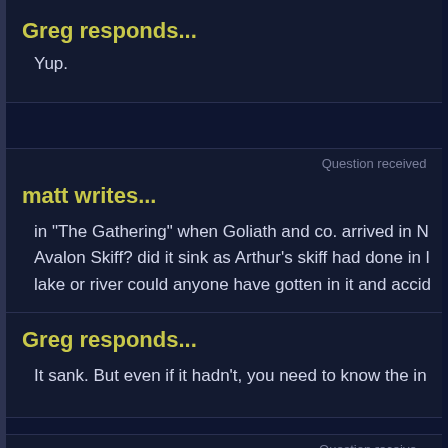Greg responds...
Yup.
Question received
matt writes...
in "The Gathering" when Goliath and co. arrived in N... Avalon Skiff? did it sink as Arthur's skiff had done in l... lake or river could anyone have gotten in it and accid...
Greg responds...
It sank. But even if it hadn't, you need to know the in...
Question receive...
Ray Kremer writes...